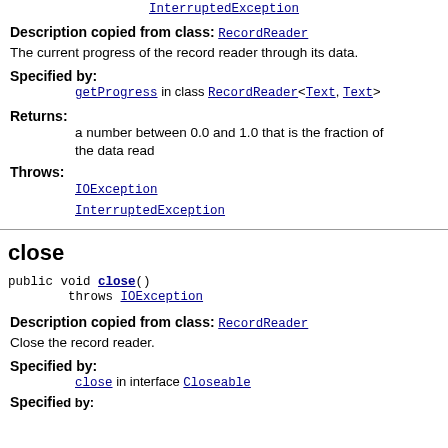InterruptedException (link at top)
Description copied from class: RecordReader
The current progress of the record reader through its data.
Specified by:
getProgress in class RecordReader<Text, Text>
Returns:
a number between 0.0 and 1.0 that is the fraction of the data read
Throws:
IOException
InterruptedException
close
public void close()
        throws IOException
Description copied from class: RecordReader
Close the record reader.
Specified by:
close in interface Closeable
Specified by: